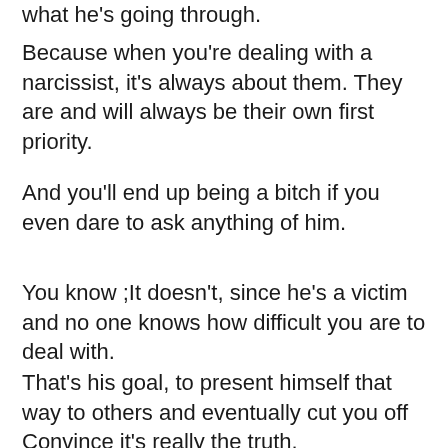what he's going through.
Because when you're dealing with a narcissist, it's always about them. They are and will always be their own first priority.
And you'll end up being a bitch if you even dare to ask anything of him.
You know ;It doesn't, since he's a victim and no one knows how difficult you are to deal with.
That's his goal, to present himself that way to others and eventually cut you off Convince it's really the truth.